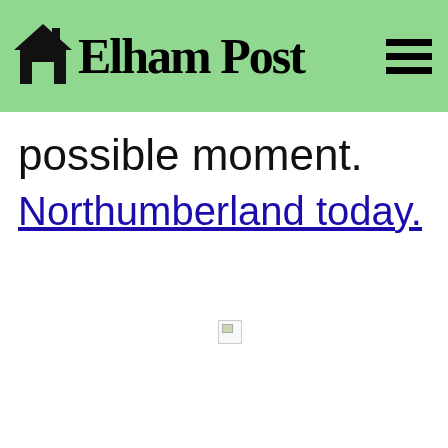Elham Post
possible moment.
Northumberland today.
[Figure (other): Broken image placeholder icon]